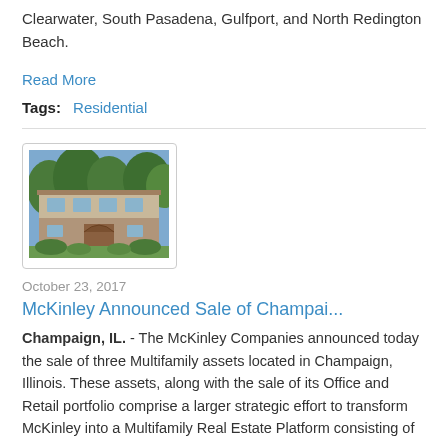Clearwater, South Pasadena, Gulfport, and North Redington Beach.
Read More
Tags:  Residential
[Figure (photo): Exterior photo of a multifamily residential building in Champaign, Illinois — a two-story tan/gray building with brick archway entrance, surrounded by green trees and shrubs on a sunny day.]
October 23, 2017
McKinley Announced Sale of Champai...
Champaign, IL. - The McKinley Companies announced today the sale of three Multifamily assets located in Champaign, Illinois. These assets, along with the sale of its Office and Retail portfolio comprise a larger strategic effort to transform McKinley into a Multifamily Real Estate Platform consisting of